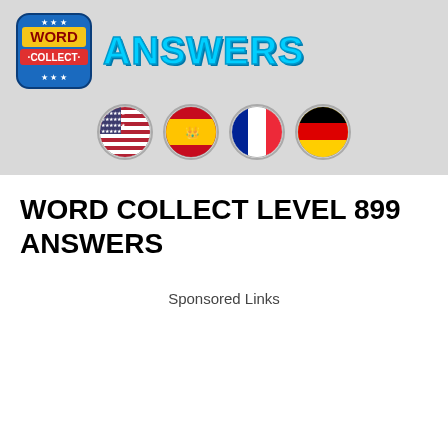[Figure (logo): Word Collect game logo badge with ANSWERS text in cyan]
[Figure (illustration): Four circular flag icons: USA, Spain, France, Germany]
WORD COLLECT LEVEL 899 ANSWERS
Sponsored Links